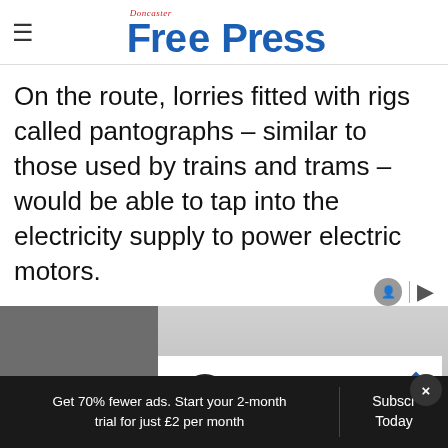Doncaster Free Press
On the route, lorries fitted with rigs called pantographs – similar to those used by trains and trams – would be able to tap into the electricity supply to power electric motors.
[Figure (screenshot): Advertisement banner showing Back To School Essentials, Leesburg Premium Outlets]
Get 70% fewer ads. Start your 2-month trial for just £2 per month
Subscribe Today